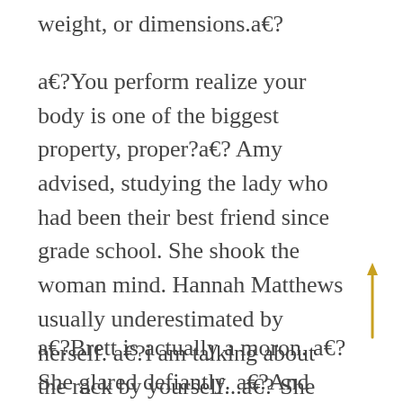weight, or dimensions.a€?
a€?You perform realize your body is one of the biggest property, proper?a€? Amy advised, studying the lady who had been their best friend since grade school. She shook the woman mind. Hannah Matthews usually underestimated by herself. a€?i am talking about the rack by yourself...a€? She stretched-out the lady available palms before the woman and gestured. a€?Come on.a€?
a€?Brett is actually a moron. a€? She glared defiantly. a€?And how